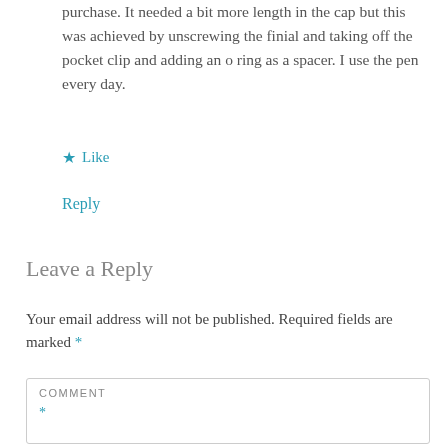purchase. It needed a bit more length in the cap but this was achieved by unscrewing the finial and taking off the pocket clip and adding an o ring as a spacer. I use the pen every day.
★ Like
Reply
Leave a Reply
Your email address will not be published. Required fields are marked *
COMMENT *